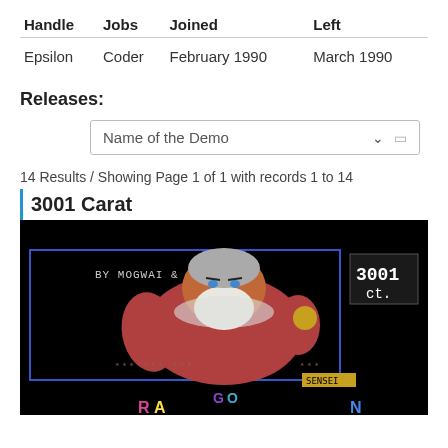| Handle | Jobs | Joined | Left |
| --- | --- | --- | --- |
| Epsilon | Coder | February 1990 | March 1990 |
Releases:
Name of the Demo
14 Results / Showing Page 1 of 1 with records 1 to 14
3001 Carat
[Figure (screenshot): Screenshot of demo '3001 Carat' showing a fantasy warrior character with white beard and the text 'BY MOGWAI & SENSEI' and '3001 ct.' along with partial text 'RAGON' at the bottom on a black background.]